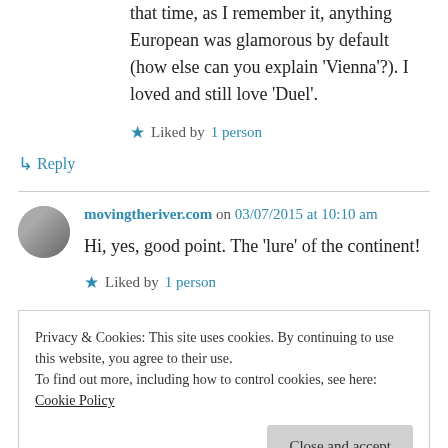that time, as I remember it, anything European was glamorous by default (how else can you explain ‘Vienna’?). I loved and still love ‘Duel’.
★ Liked by 1 person
↳ Reply
movingtheriver.com on 03/07/2015 at 10:10 am
Hi, yes, good point. The ‘lure’ of the continent!
★ Liked by 1 person
Privacy & Cookies: This site uses cookies. By continuing to use this website, you agree to their use.
To find out more, including how to control cookies, see here: Cookie Policy
Close and accept
Aha and Pet Shop Boys listening hard,